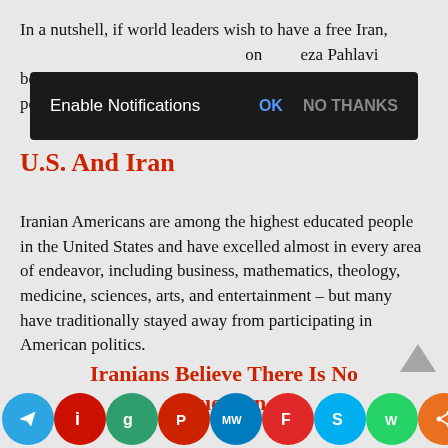In a nutshell, if world leaders wish to have a free Iran, they … on … eza Pahlavi because he represents the will of majority of the Iranian people.
[Figure (screenshot): Browser notification popup bar with dark background reading 'Enable Notifications' with 'OK' and 'NO THANKS' buttons]
U.S. And Iran
Iranian Americans are among the highest educated people in the United States and have excelled almost in every area of endeavor, including business, mathematics, theology, medicine, sciences, arts, and entertainment – but many have traditionally stayed away from participating in American politics.
Iranians Believe There Is No Question
[Figure (infographic): Social media sharing icon bar at bottom with colored circular icons for Telegram, Facebook, Google, Parler, MeWe, Flipboard, Skype, WhatsApp, and share]